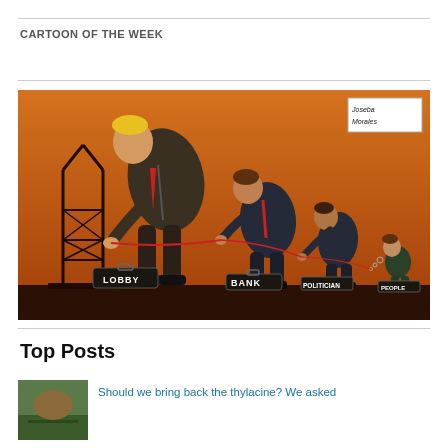CARTOON OF THE WEEK
[Figure (illustration): Political cartoon showing a chain of characters each pulling the next one's tie: a large figure (Lobby) bending over an oil derrick, followed by Bank, Politician, and People figures in descending size, each stealing from the one behind them. Briefcases labeled LOBBY, BANK, POLITICIAN, and PEOPLE. Artist signature: Joseba Morales. Orange/brown background.]
Top Posts
Should we bring back the thylacine? We asked